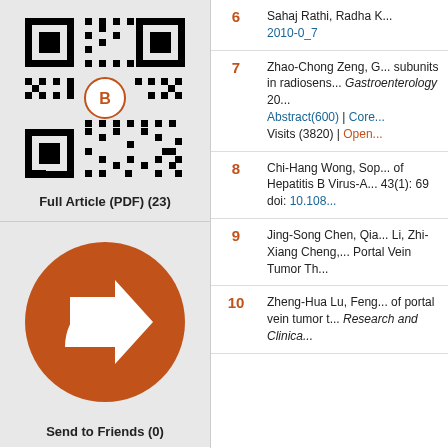[Figure (other): QR code with Baishideng logo in center on grey background]
Full Article (PDF) (23)
[Figure (illustration): Orange circle with white right-pointing arrow/share icon on grey background]
Send to Friends (0)
| # | Reference |
| --- | --- |
| 6 | Sahaj Rathi, Radha K... 2010-0_7 |
| 7 | Zhao-Chong Zeng, G... subunits in radiosens... Gastroenterology 20... Abstract(600) | Core... Visits (3820) | Open... |
| 8 | Chi-Hang Wong, Sop... of Hepatitis B Virus-A... 43(1): 69 doi: 10.108... |
| 9 | Jing-Song Chen, Qia... Li, Zhi-Xiang Cheng,... Portal Vein Tumor Th... |
| 10 | Zheng-Hua Lu, Feng... of portal vein tumor t... Research and Clinica... |